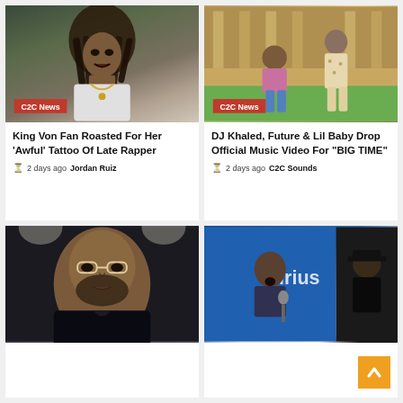[Figure (photo): Close-up photo of King Von with long dreadlocks, white tank top, chain necklace, outdoors with greenery background. C2C News badge in lower left.]
[Figure (photo): Photo of DJ Khaled and another person standing outside a building with columns and tropical plants. C2C News badge in lower left.]
King Von Fan Roasted For Her ‘Awful’ Tattoo Of Late Rapper
2 days ago  Jordan Ruiz
DJ Khaled, Future & Lil Baby Drop Official Music Video For “BIG TIME”
2 days ago  C2C Sounds
[Figure (photo): Close-up photo of Drake with beard, glasses, dark jacket, indoor venue with bright lights.]
[Figure (photo): Photo of person singing into a microphone on stage with blue background showing partial Sirius XM logo, and another person in black cap on the right.]